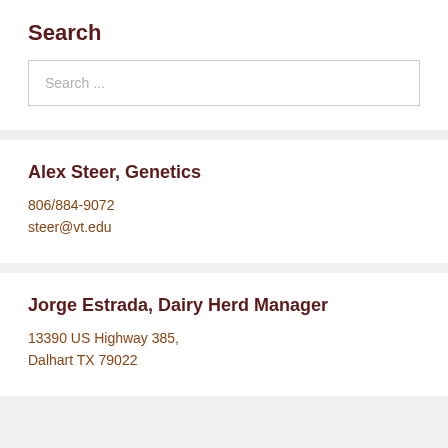Search
Search ...
Alex Steer, Genetics
806/884-9072
steer@vt.edu
Jorge Estrada, Dairy Herd Manager
13390 US Highway 385,
Dalhart TX 79022